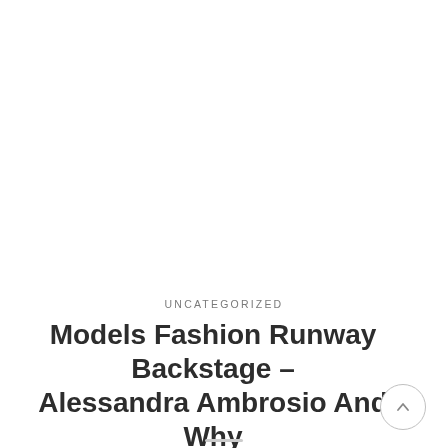UNCATEGORIZED
Models Fashion Runway Backstage – Alessandra Ambrosio And Why Beautiful Women Are Back In Fashion